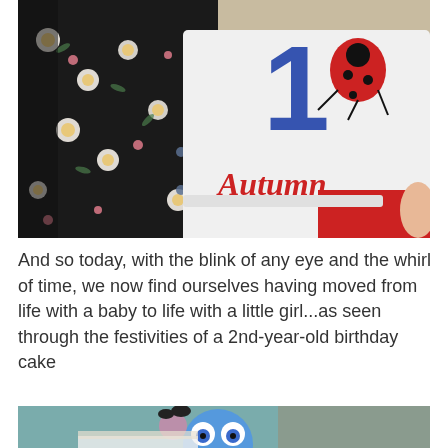[Figure (photo): Photo of a baby wearing a white shirt with a blue number '1' and a Miraculous Ladybug cartoon character, with the name 'Autumn' embroidered in red cursive. An adult wearing a black floral dress is visible beside the child, who is also wearing red pants.]
And so today, with the blink of any eye and the whirl of time, we now find ourselves having moved from life with a baby to life with a little girl...as seen through the festivities of a 2nd-year-old birthday cake
[Figure (photo): Partial photo showing the bottom edge, appearing to depict a blue cartoon character face (possibly a Minion or similar) near a birthday cake setting.]